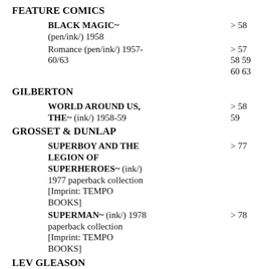FEATURE COMICS
BLACK MAGIC~ (pen/ink/) 1958  > 58
Romance (pen/ink/) 1957-60/63  > 57 58 59 60 63
GILBERTON
WORLD AROUND US, THE~ (ink/) 1958-59  > 58 59
GROSSET & DUNLAP
SUPERBOY AND THE LEGION OF SUPERHEROES~ (ink/) 1977 paperback collection [Imprint: TEMPO BOOKS]  > 77
SUPERMAN~ (ink/) 1978 paperback collection [Imprint: TEMPO BOOKS]  > 78
LEV GLEASON
CHUCK CHANDLER (ink/) 1955-  > 55